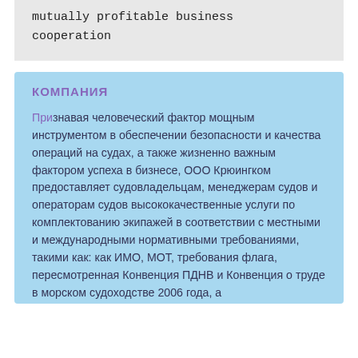mutually profitable business cooperation
КОМПАНИЯ
Признавая человеческий фактор мощным инструментом в обеспечении безопасности и качества операций на судах, а также жизненно важным фактором успеха в бизнесе, ООО Крюингком предоставляет судовладельцам, менеджерам судов и операторам судов высококачественные услуги по комплектованию экипажей в соответствии с местными и международными нормативными требованиями, такими как: как ИМО, МОТ, требования флага, пересмотренная Конвенция ПДНВ и Конвенция о труде в морском судоходстве 2006 года, а также те, которые установлены клиентами